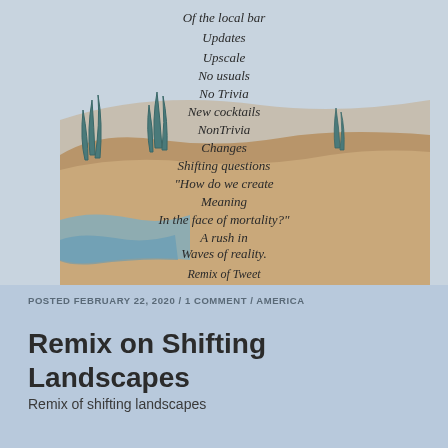[Figure (illustration): Watercolor painting of a coastal/marsh landscape with sandy dunes, water, and grass/reed plants. Poem text overlaid in dark calligraphic font reading: 'Of the local bar / Updates / Upscale / No usuals / No Trivia / New cocktails / NonTrivia / Changes / Shifting questions / "How do we create / Meaning / In the face of mortality?" / A rush in / Waves of reality. / Remix of Tweet']
POSTED FEBRUARY 22, 2020 / 1 COMMENT / AMERICA
Remix on Shifting Landscapes
Remix of shifting landscapes